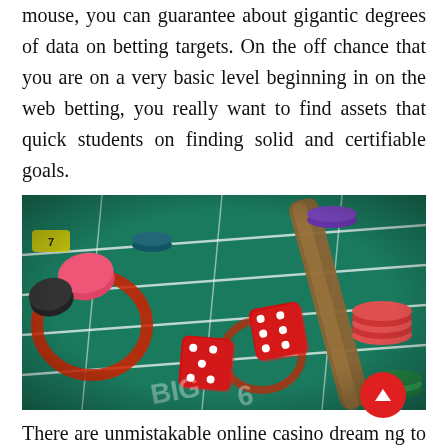mouse, you can guarantee about gigantic degrees of data on betting targets. On the off chance that you are on a very basic level beginning in on the web betting, you really want to find assets that quick students on finding solid and certifiable goals.
[Figure (photo): A casino craps table with a green felt surface, red dice, poker chips, and a wooden croupier stick.]
There are unmistakable online casino dreaming to help you in this section. On the off chance that you